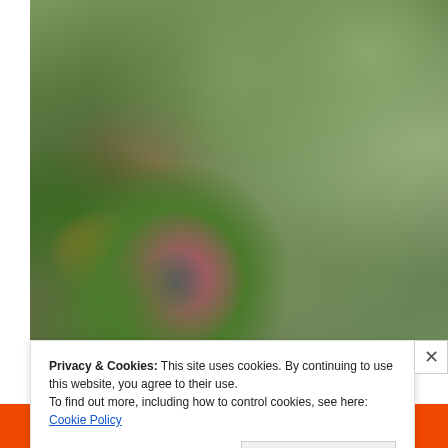[Figure (photo): Close-up photograph of prickly pear cactus pads (Opuntia) with a purple-pink budding flower/fruit on a green pad in the foreground. Background shows large grey-green cactus pads out of focus.]
Privacy & Cookies: This site uses cookies. By continuing to use this website, you agree to their use.
To find out more, including how to control cookies, see here: Cookie Policy
Close and accept
email with more privacy.